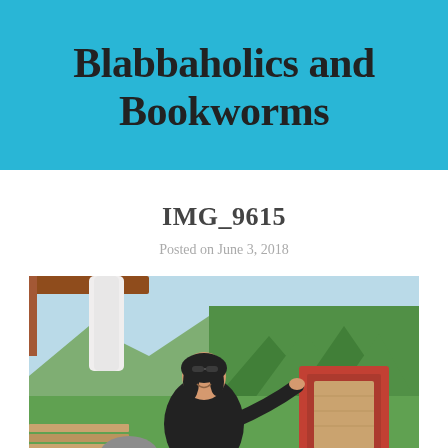Blabbaholics and Bookworms
IMG_9615
Posted on June 3, 2018
[Figure (photo): A young woman in a black lace top sitting on a wooden bench/seat on what appears to be an outdoor terrace or cable car, smiling, with green trees and mountains visible in the background. A red wooden panel is visible to her right.]